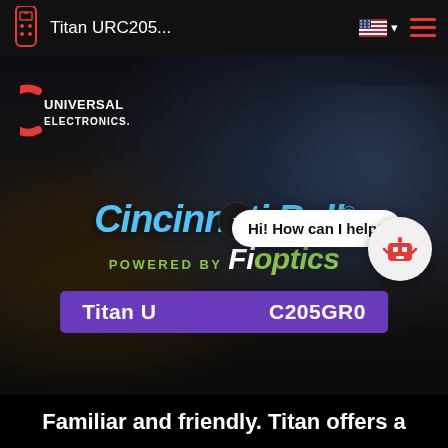Titan URC205...
[Figure (screenshot): Website screenshot showing Universal Electronics logo, Cincinnati Bell powered by Fioptics hero image with dark living room scene, product title bar 'Titan URC205GR0', chat widget with 'Hi! How can I help?' bubble and robot icon]
Familiar and friendly. Titan offers a